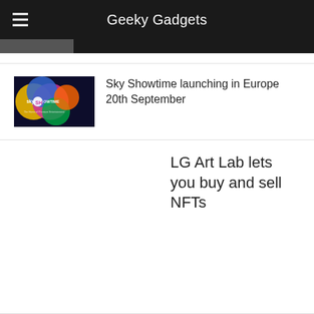Geeky Gadgets
[Figure (screenshot): Sky Showtime logo thumbnail — colorful discs on dark background with 'sky SHOWTIME' text]
Sky Showtime launching in Europe 20th September
LG Art Lab lets you buy and sell NFTs